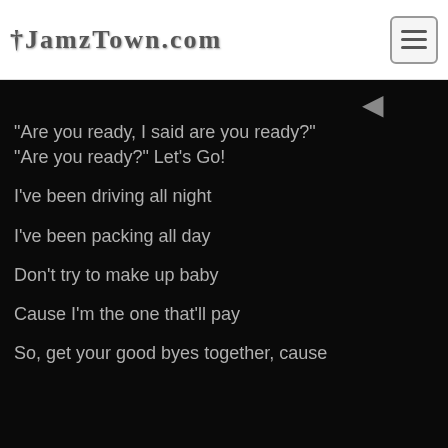JamzTown.com
"Are you ready, I said are you ready?"
"Are you ready?" Let's Go!
I've been driving all night
I've been packing all day
Don't try to make up baby
Cause I'm the one that'll pay
So, get your good byes together, cause